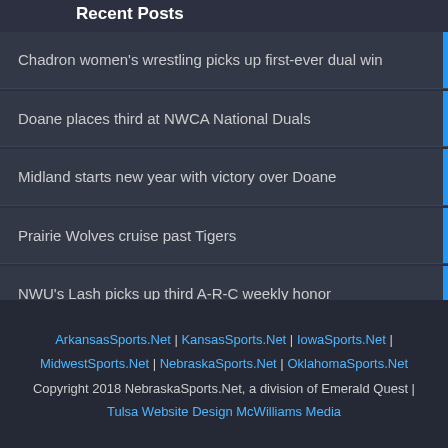Recent Posts
Chadron women's wrestling picks up first-ever dual win
Doane places third at NWCA National Duals
Midland starts new year with victory over Doane
Prairie Wolves cruise past Tigers
NWU's Lash picks up third A-R-C weekly honor
ArkansasSports.Net | KansasSports.Net | IowaSports.Net | MidwestSports.Net | NebraskaSports.Net | OklahomaSports.Net Copyright 2018 NebraskaSports.Net, a division of Emerald Quest | Tulsa Website Design McWilliams Media